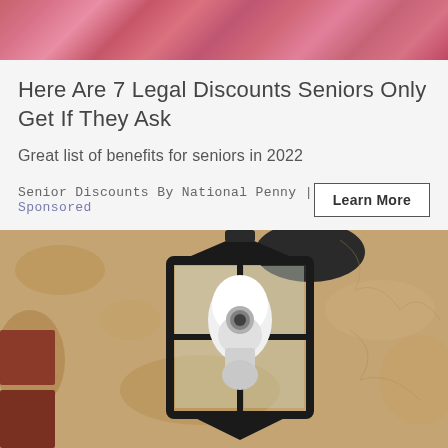[Figure (photo): Pink floral/flower background image banner at the top of the advertisement card]
Here Are 7 Legal Discounts Seniors Only Get If They Ask
Great list of benefits for seniors in 2022
Senior Discounts By National Penny | Sponsored
[Figure (photo): Close-up photo of a black outdoor wall lantern with a white security camera or bulb inside, mounted on a beige stucco/stone wall]